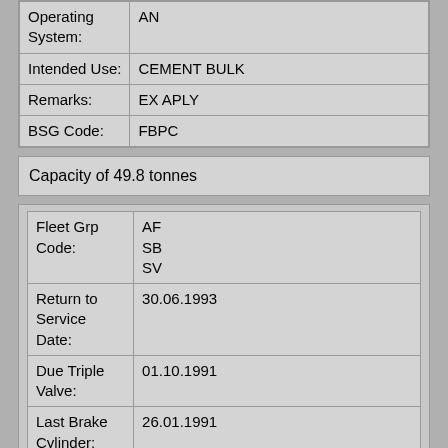| Operating System: | AN |
| Intended Use: | CEMENT BULK |
| Remarks: | EX APLY |
| BSG Code: | FBPC |
Capacity of 49.8 tonnes
| Fleet Grp Code: | AF
SB
SV |
| Return to Service Date: | 30.06.1993 |
| Due Triple Valve: | 01.10.1991 |
| Last Brake Cylinder: | 26.01.1991 |